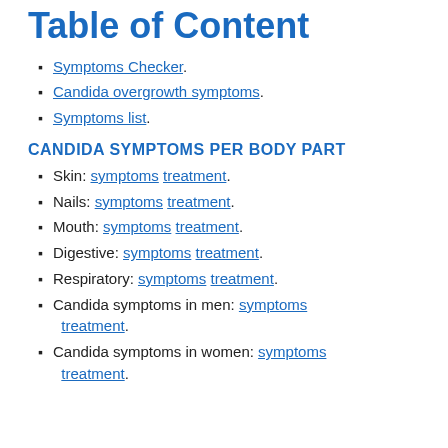Table of Content
Symptoms Checker.
Candida overgrowth symptoms.
Symptoms list.
CANDIDA SYMPTOMS PER BODY PART
Skin: symptoms treatment.
Nails: symptoms treatment.
Mouth: symptoms treatment.
Digestive: symptoms treatment.
Respiratory: symptoms treatment.
Candida symptoms in men: symptoms treatment.
Candida symptoms in women: symptoms treatment.